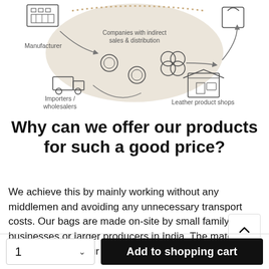[Figure (infographic): Supply chain diagram showing Manufacturer (top left with factory icon), Companies with indirect sales & distribution (center beige circle with coin/gear icons), Importers/wholesalers (bottom left with truck icon), and Leather product shops (bottom right with storefront icon). Arrows show flow between nodes.]
Why can we offer our products for such a good price?
We achieve this by mainly working without any middlemen and avoiding any unnecessary transport costs. Our bags are made on-site by small family businesses or larger producers in India. The materials used to produce our bags come from